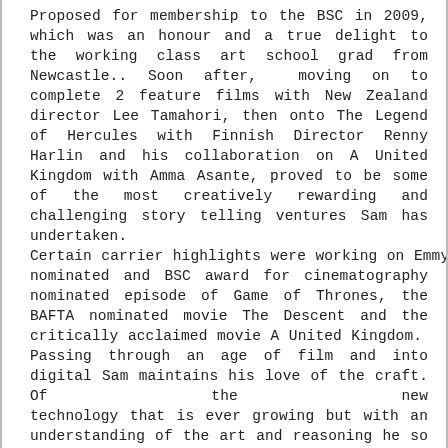Proposed for membership to the BSC in 2009, which was an honour and a true delight to the working class art school grad from Newcastle.. Soon after, moving on to complete 2 feature films with New Zealand director Lee Tamahori, then onto The Legend of Hercules with Finnish Director Renny Harlin and his collaboration on A United Kingdom with Amma Asante, proved to be some of the most creatively rewarding and challenging story telling ventures Sam has undertaken. Certain carrier highlights were working on Emmy nominated and BSC award for cinematography nominated episode of Game of Thrones, the BAFTA nominated movie The Descent and the critically acclaimed movie A United Kingdom. Passing through an age of film and into digital Sam maintains his love of the craft. Of the new technology that is ever growing but with an understanding of the art and reasoning he so craved at an early age and one that forged him to pursue this career.
NOTABLE CREDITS INCLUDE
THE DESCENT 2005, THE HILLS HAVE EYES II 2007, DOOMSDAY 2008, THE DEVILS DOUBLE